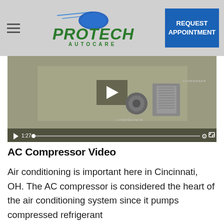[Figure (logo): Protech Autocare logo with speed lines and green italic text]
[Figure (screenshot): Video player showing AC compressor components with play button, timestamp 1:27, and playback controls]
AC Compressor Video
Air conditioning is important here in Cincinnati, OH. The AC compressor is considered the heart of the air conditioning system since it pumps compressed refrigerant